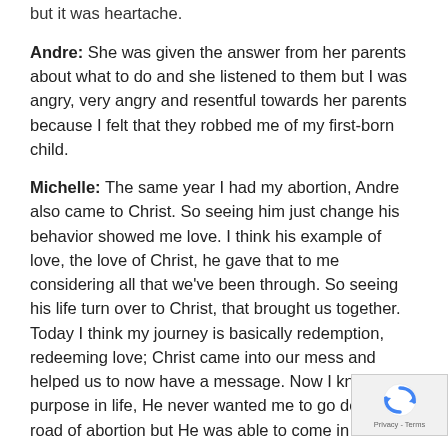but it was heartache.
Andre: She was given the answer from her parents about what to do and she listened to them but I was angry, very angry and resentful towards her parents because I felt that they robbed me of my first-born child.
Michelle: The same year I had my abortion, Andre also came to Christ. So seeing him just change his behavior showed me love. I think his example of love, the love of Christ, he gave that to me considering all that we've been through. So seeing his life turn over to Christ, that brought us together.  Today I think my journey is basically redemption, redeeming love; Christ came into our mess and helped us to now have a message. Now I know my purpose in life, He never wanted me to go down that road of abortion but He was able to come in love us and redeem our lives.  We have 4 beautiful ki... Josiah who is 15 and in high school, Jenya who is 13... Grade 7, and Micaya is 11 and in Grade 6 and Isaiah...